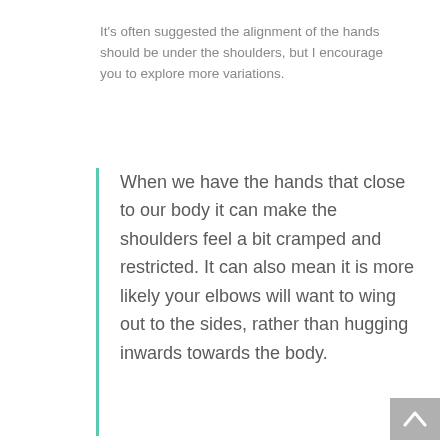It's often suggested the alignment of the hands should be under the shoulders, but I encourage you to explore more variations.
When we have the hands that close to our body it can make the shoulders feel a bit cramped and restricted. It can also mean it is more likely your elbows will want to wing out to the sides, rather than hugging inwards towards the body.